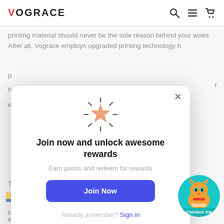VOGRACE
printing material should never be the sole reason behind your woes. After all, Vograce employs upgraded printing technology
[Figure (screenshot): Modal popup overlay on Vograce website with a glowing star icon, title 'Join now and unlock awesome rewards', subtitle 'Earn points and redeem for rewards', a blue 'Join Now' button, and 'Already a member? Sign in' link. An X close button is in the top-right of the modal.]
competitive price to ensure you don't take a toll on your finances. Better, you can
[Figure (illustration): Circular teal contact bubble in bottom right corner with an orange cat mascot and 'Contact me' text, with Vograce logo]